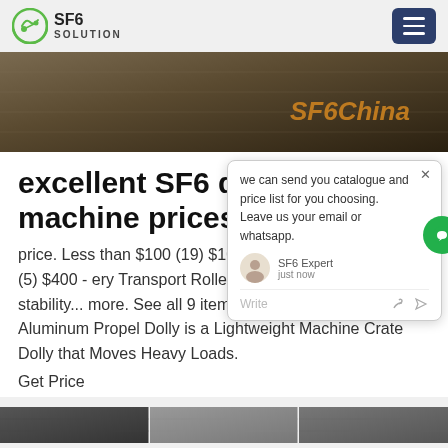SF6 SOLUTION
[Figure (photo): Hero image of industrial equipment with SF6China watermark]
excellent SF6 dolly machine prices
price. Less than $100 (19) $100 - $300 (7) $300 - $400 (5) $400 - ... ery Transport Roller Dollies ensure excellent stability... more. See all 9 items in product family. Cast Aluminum Propel Dolly is a Lightweight Machine Crate Dolly that Moves Heavy Loads.
Get Price
[Figure (screenshot): Chat popup overlay: we can send you catalogue and price list for you choosing. Leave us your email or whatsapp. SF6 Expert just now. Write.]
[Figure (photo): Bottom image strip showing partial industrial/engineering images]